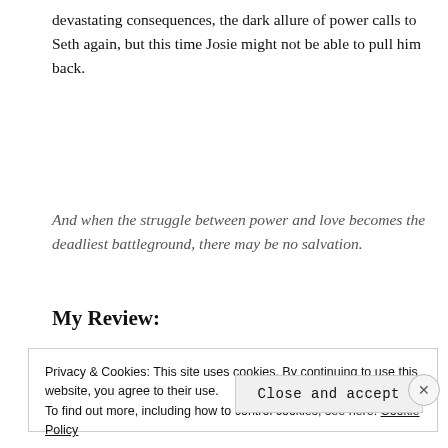devastating consequences, the dark allure of power calls to Seth again, but this time Josie might not be able to pull him back.
And when the struggle between power and love becomes the deadliest battleground, there may be no salvation.
My Review:
Privacy & Cookies: This site uses cookies. By continuing to use this website, you agree to their use. To find out more, including how to control cookies, see here: Cookie Policy